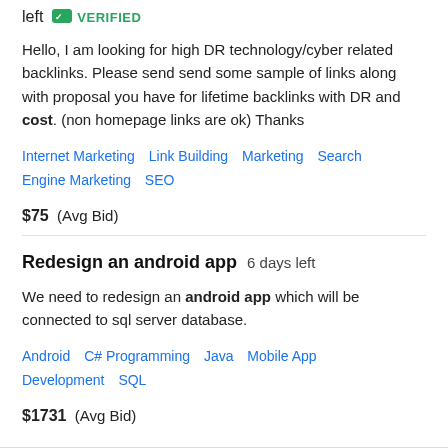left  VERIFIED
Hello, I am looking for high DR technology/cyber related backlinks. Please send send some sample of links along with proposal you have for lifetime backlinks with DR and cost. (non homepage links are ok) Thanks
Internet Marketing   Link Building   Marketing   Search Engine Marketing   SEO
$75  (Avg Bid)
Redesign an android app  6 days left
We need to redesign an android app which will be connected to sql server database.
Android   C# Programming   Java   Mobile App Development   SQL
$1731  (Avg Bid)